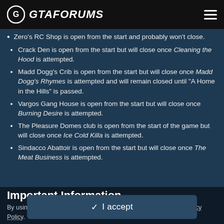GTAFORUMS
Zero's RC Shop is open from the start and probably won't close.
Crack Den is open from the start but will close once Cleaning the Hood is attempted.
Madd Dogg's Crib is open from the start but will close once Madd Dogg's Rhymes is attempted and will remain closed until "A Home in the Hills" is passed.
Vargos Gang House is open from the start but will close once Burning Desire is attempted.
The Pleasure Domes club is open from the start of the game but will close once Ice Cold Killa is attempted.
Sindacco Abattoir is open from the start but will close once The Meat Business is attempted.
Important Information
By using GTAForums.com, you agree to our Terms of Use and Privacy Policy.
I accept